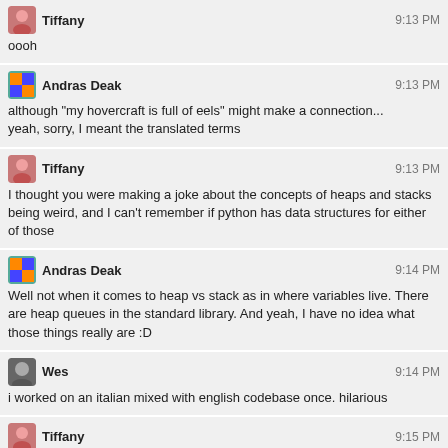Tiffany 9:13 PM
oooh
Andras Deak 9:13 PM
although "my hovercraft is full of eels" might make a connection...
yeah, sorry, I meant the translated terms
Tiffany 9:13 PM
I thought you were making a joke about the concepts of heaps and stacks being weird, and I can't remember if python has data structures for either of those
Andras Deak 9:14 PM
Well not when it comes to heap vs stack as in where variables live. There are heap queues in the standard library. And yeah, I have no idea what those things really are :D
Wes 9:14 PM
i worked on an italian mixed with english codebase once. hilarious
Tiffany 9:15 PM
@Wes 0/10, would not recommend?
Andras Deak 9:15 PM
/* 🐱 */
Wes 9:15 PM
was like getModuloPagamentoIsChecked()
you can't change get/set not even in italian :B
probably because the IDE generated them automatically :B